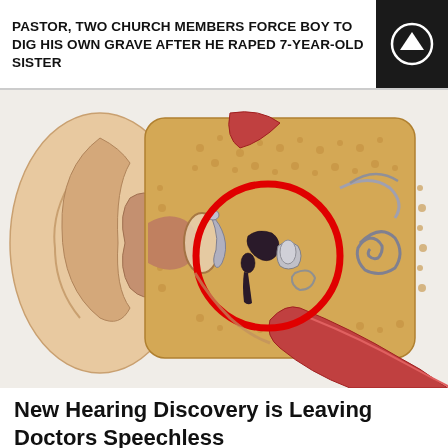PASTOR, TWO CHURCH MEMBERS FORCE BOY TO DIG HIS OWN GRAVE AFTER HE RAPED 7-YEAR-OLD SISTER
[Figure (illustration): Medical illustration of a cross-section of the human ear, showing outer ear canal, eardrum, and inner ear ossicles (malleus, incus, stapes) highlighted with a red circle. The cochlea and surrounding bone structure are visible. Muscles and tendons shown in red/pink.]
New Hearing Discovery is Leaving Doctors Speechless
Healthier Patriot
[Figure (photo): Partial view of a person's face/head at the bottom edge of the page, cropped.]